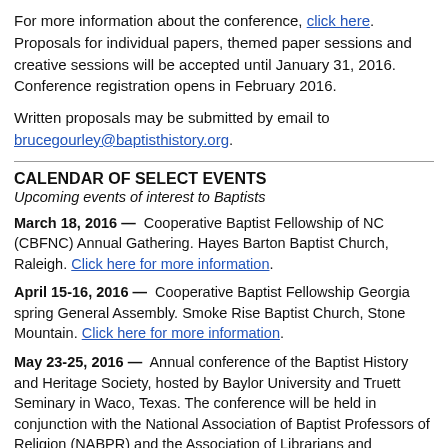For more information about the conference, click here. Proposals for individual papers, themed paper sessions and creative sessions will be accepted until January 31, 2016. Conference registration opens in February 2016.
Written proposals may be submitted by email to brucegourley@baptisthistory.org.
CALENDAR OF SELECT EVENTS
Upcoming events of interest to Baptists
March 18, 2016 — Cooperative Baptist Fellowship of NC (CBFNC) Annual Gathering. Hayes Barton Baptist Church, Raleigh. Click here for more information.
April 15-16, 2016 — Cooperative Baptist Fellowship Georgia spring General Assembly. Smoke Rise Baptist Church, Stone Mountain. Click here for more information.
May 23-25, 2016 — Annual conference of the Baptist History and Heritage Society, hosted by Baylor University and Truett Seminary in Waco, Texas. The conference will be held in conjunction with the National Association of Baptist Professors of Religion (NABPR) and the Association of Librarians and Archivists...